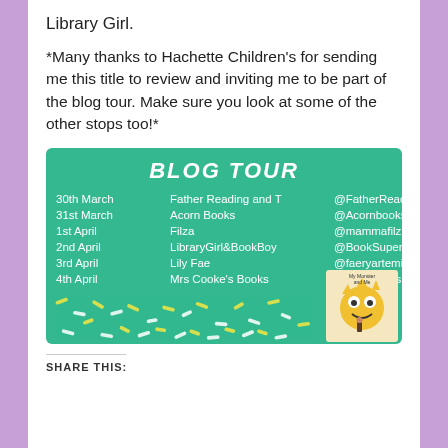Library Girl.
*Many thanks to Hachette Children's for sending me this title to review and inviting me to be part of the blog tour. Make sure you look at some of the other stops too!*
[Figure (infographic): Blog Tour banner with green background listing tour stops: 30th March - Father Reading and T - @FatherReading; 31st March - Acorn Books - @Acornbooks; 1st April - Filza - @mammafilz; 2nd April - LibraryGirl&BookBoy - @BookSuperheroz; 3rd April - Lily Fae - @faeryartemis; 4th April - Mrs Cooke's Books - @mrscookesbooks. Bottom has confetti decoration and book cover image of 'My Monster and Me'.]
SHARE THIS: